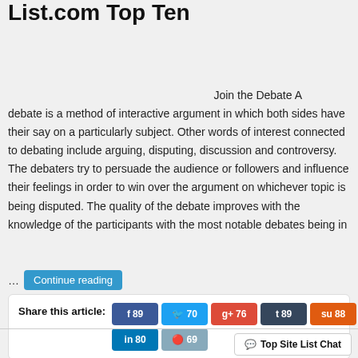List.com Top Ten
Join the Debate A debate is a method of interactive argument in which both sides have their say on a particularly subject. Other words of interest connected to debating include arguing, disputing, discussion and controversy. The debaters try to persuade the audience or followers and influence their feelings in order to win over the argument on whichever topic is being disputed. The quality of the debate improves with the knowledge of the participants with the most notable debates being in
... Continue reading
Share this article: f 89 | 70 | g+ 76 | t 89 | su 88 | in 80 | reddit 69
Top Site List Chat